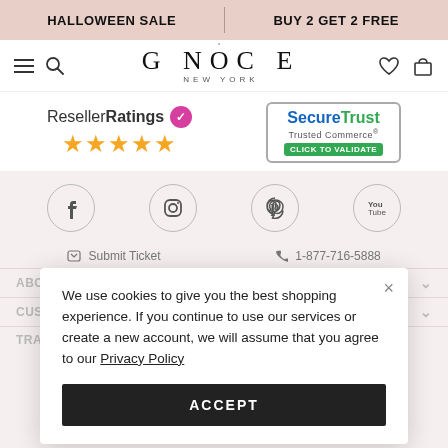HALLOWEEN SALE | BUY 2 GET 2 FREE
[Figure (logo): GNOCE NEW YORK logo with navigation icons (hamburger, search, heart, bag)]
[Figure (infographic): ResellerRatings 5-star badge and SecureTrust Trusted Commerce click to validate badge]
[Figure (infographic): Social media icons: Facebook, Instagram, Pinterest, YouTube]
Submit Ticket   1-877-716-5888
ABOUT GNOCE
CUSTOMER CARE
TRACK MY ORDER
We use cookies to give you the best shopping experience. If you continue to use our services or create a new account, we will assume that you agree to our Privacy Policy
ACCEPT
© 2022 Gnoce Jewelry All Rights Reserved